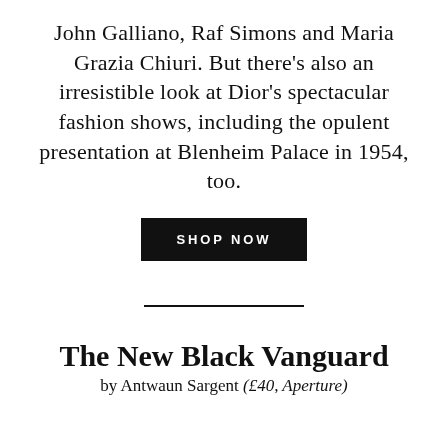John Galliano, Raf Simons and Maria Grazia Chiuri. But there's also an irresistible look at Dior's spectacular fashion shows, including the opulent presentation at Blenheim Palace in 1954, too.
SHOP NOW
The New Black Vanguard
by Antwaun Sargent (£40, Aperture)